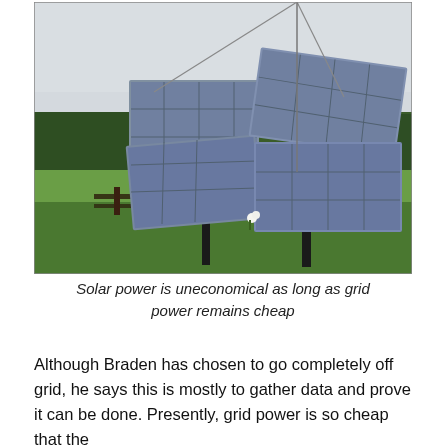[Figure (photo): Photograph of two solar panel arrays mounted on poles in a rural field with green grass, trees in the background, a wooden fence, and an overcast sky.]
Solar power is uneconomical as long as grid power remains cheap
Although Braden has chosen to go completely off grid, he says this is mostly to gather data and prove it can be done. Presently, grid power is so cheap that the